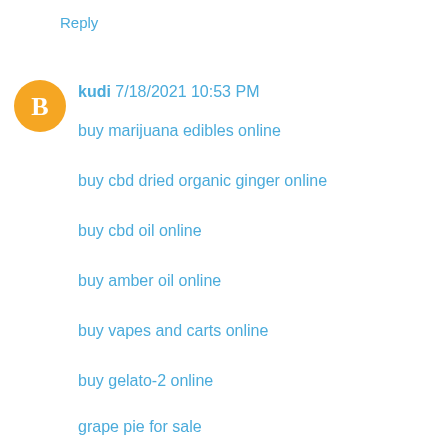Reply
kudi 7/18/2021 10:53 PM
buy marijuana edibles online
buy cbd dried organic ginger online
buy cbd oil online
buy amber oil online
buy vapes and carts online
buy gelato-2 online
grape pie for sale